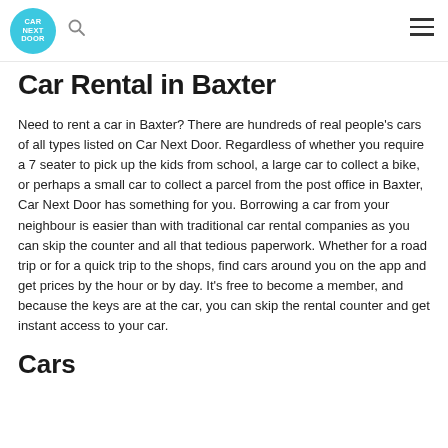Car Next Door
Car Rental in Baxter
Need to rent a car in Baxter? There are hundreds of real people’s cars of all types listed on Car Next Door. Regardless of whether you require a 7 seater to pick up the kids from school, a large car to collect a bike, or perhaps a small car to collect a parcel from the post office in Baxter, Car Next Door has something for you. Borrowing a car from your neighbour is easier than with traditional car rental companies as you can skip the counter and all that tedious paperwork. Whether for a road trip or for a quick trip to the shops, find cars around you on the app and get prices by the hour or by day. It’s free to become a member, and because the keys are at the car, you can skip the rental counter and get instant access to your car.
Cars